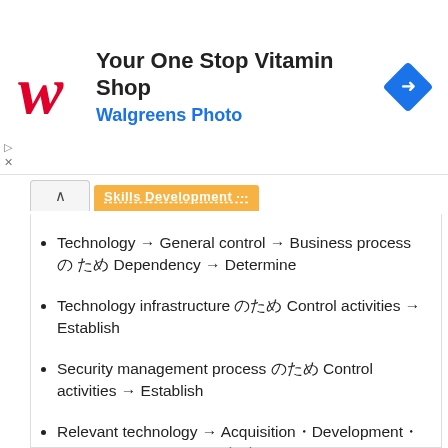[Figure (screenshot): Walgreens Photo advertisement banner with red cursive W logo, text 'Your One Stop Vitamin Shop' and 'Walgreens Photo', and a blue diamond navigation icon on the right]
Technology → General control → Business process の ため Dependency → Determine
Technology infrastructure のため Control activities → Establish
Security management process のため Control activities → Establish
Relevant technology → Acquisition・Development・Maintenance process のため Control activities → Establish